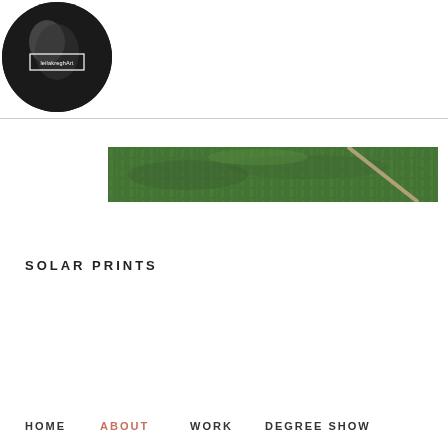[Figure (logo): Circular black and white logo with artist name 'leilakreghArt' in a bordered text box]
[Figure (photo): Horizontal banner photo showing green grass with a stick or rod, partially visible]
HOME   ABOUT   WORK   DEGREE SHOW
SOLAR PRINTS